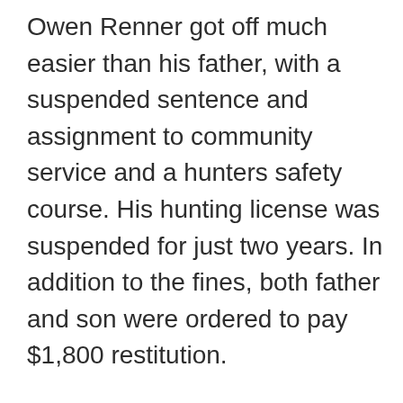Owen Renner got off much easier than his father, with a suspended sentence and assignment to community service and a hunters safety course. His hunting license was suspended for just two years. In addition to the fines, both father and son were ordered to pay $1,800 restitution.
Kitty Block, president of Humane Society International and CEO of the Humane Society of the United States told Newsweek that this issue is a sign of a